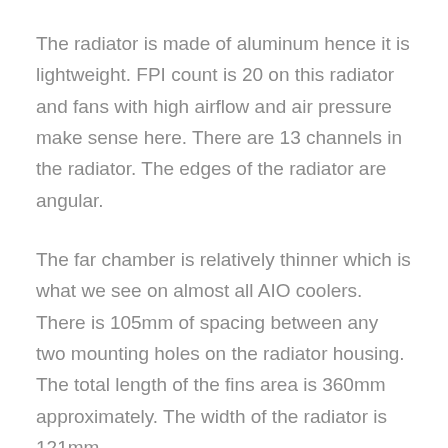The radiator is made of aluminum hence it is lightweight. FPI count is 20 on this radiator and fans with high airflow and air pressure make sense here. There are 13 channels in the radiator. The edges of the radiator are angular.
The far chamber is relatively thinner which is what we see on almost all AIO coolers. There is 105mm of spacing between any two mounting holes on the radiator housing. The total length of the fins area is 360mm approximately. The width of the radiator is 121mm.